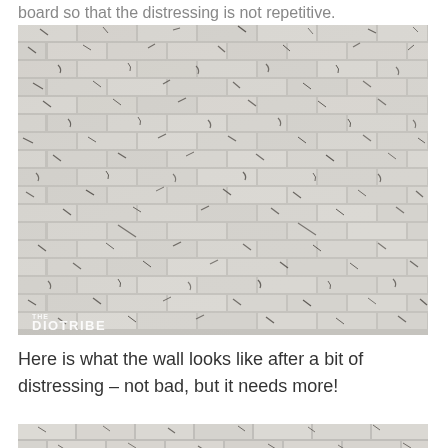board so that the distressing is not repetitive.
[Figure (photo): Close-up photo of a distressed white brick wall pattern with dark grout lines visible. The bricks appear to have a painted white/light grey finish with intentional distressing marks. Watermark 'DIOTRIBE' visible in bottom left corner.]
Here is what the wall looks like after a bit of distressing – not bad, but it needs more!
[Figure (photo): Partial photo at bottom of page showing another section of distressed white brick wall, cropped.]